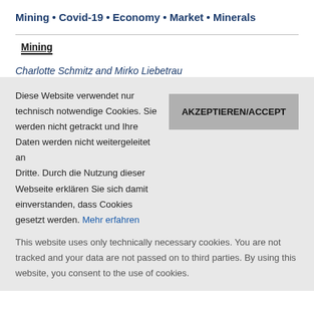Mining • Covid-19 • Economy • Market • Minerals
Mining
Charlotte Schmitz and Mirko Liebetrau
Diese Website verwendet nur technisch notwendige Cookies. Sie werden nicht getrackt und Ihre Daten werden nicht weitergeleitet an Dritte. Durch die Nutzung dieser Webseite erklären Sie sich damit einverstanden, dass Cookies gesetzt werden. Mehr erfahren
This website uses only technically necessary cookies. You are not tracked and your data are not passed on to third parties. By using this website, you consent to the use of cookies.